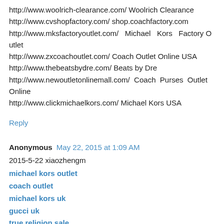http://www.woolrich-clearance.com/ Woolrich Clearance
http://www.cvshopfactory.com/ shop.coachfactory.com
http://www.mksfactoryoutlet.com/ Michael Kors Factory Outlet
http://www.zxcoachoutlet.com/ Coach Outlet Online USA
http://www.thebeatsbydre.com/ Beats by Dre
http://www.newoutletonlinemall.com/ Coach Purses Outlet Online
http://www.clickmichaelkors.com/ Michael Kors USA
Reply
Anonymous May 22, 2015 at 1:09 AM
2015-5-22 xiaozhengm
michael kors outlet
coach outlet
michael kors uk
gucci uk
true religion sale
cheap jerseys
caoch outlet
kate spade bags